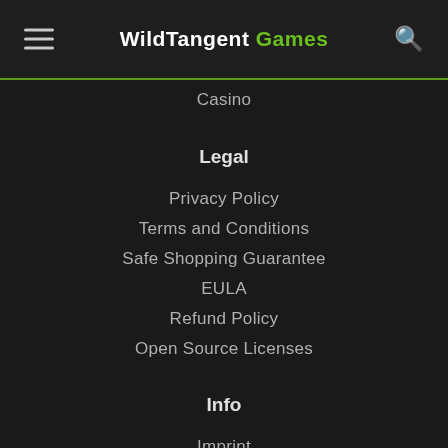WildTangent Games
Casino
Legal
Privacy Policy
Terms and Conditions
Safe Shopping Guarantee
EULA
Refund Policy
Open Source Licenses
Info
Imprint
About Us